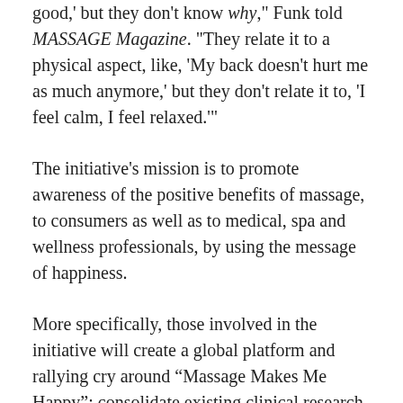good,' but they don't know why," Funk told MASSAGE Magazine. "They relate it to a physical aspect, like, 'My back doesn't hurt me as much anymore,' but they don't relate it to, 'I feel calm, I feel relaxed.'"
The initiative's mission is to promote awareness of the positive benefits of massage, to consumers as well as to medical, spa and wellness professionals, by using the message of happiness.
More specifically, those involved in the initiative will create a global platform and rallying cry around “Massage Makes Me Happy”; consolidate existing clinical research and support new research for deeper integration of massage into wellness practices; encourage storytelling of the